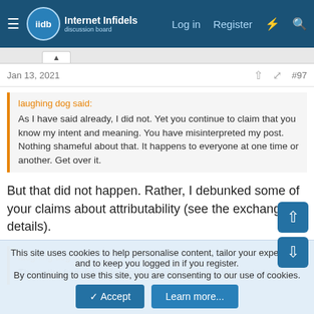Internet Infidels — Log in  Register
Jan 13, 2021  #97
laughing dog said:
As I have said already, I did not. Yet you continue to claim that you know my intent and meaning. You have misinterpreted my post. Nothing shameful about that. It happens to everyone at one time or another. Get over it.
But that did not happen. Rather, I debunked some of your claims about attributability (see the exchange for details).
laughing dog said:
The entire foundation for your argument is your demonstrated
This site uses cookies to help personalise content, tailor your experience and to keep you logged in if you register.
By continuing to use this site, you are consenting to our use of cookies.